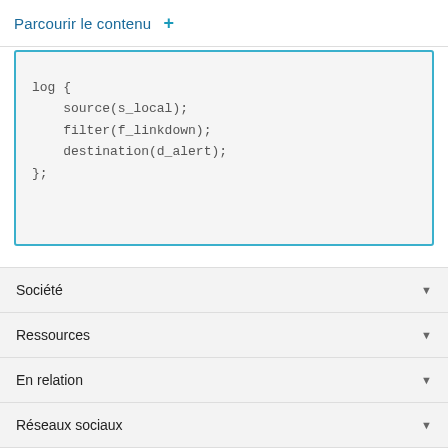Parcourir le contenu +
log {
    source(s_local);
    filter(f_linkdown);
    destination(d_alert);
};
< Précédent   Suivant >
Société
Ressources
En relation
Réseaux sociaux